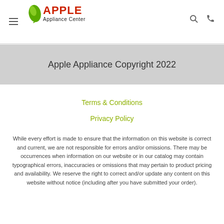[Figure (logo): Apple Appliance Center logo with green leaf icon and red APPLE text]
Apple Appliance Copyright 2022
Terms & Conditions
Privacy Policy
While every effort is made to ensure that the information on this website is correct and current, we are not responsible for errors and/or omissions. There may be occurrences when information on our website or in our catalog may contain typographical errors, inaccuracies or omissions that may pertain to product pricing and availability. We reserve the right to correct and/or update any content on this website without notice (including after you have submitted your order).